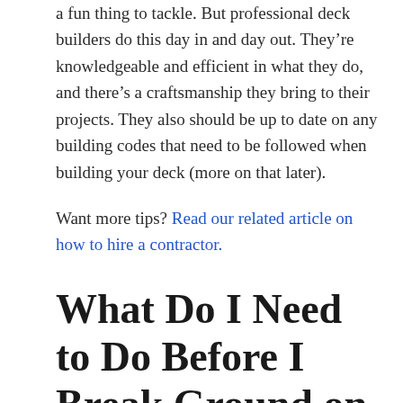a fun thing to tackle. But professional deck builders do this day in and day out. They're knowledgeable and efficient in what they do, and there's a craftsmanship they bring to their projects. They also should be up to date on any building codes that need to be followed when building your deck (more on that later).
Want more tips? Read our related article on how to hire a contractor.
What Do I Need to Do Before I Break Ground on My Deck?